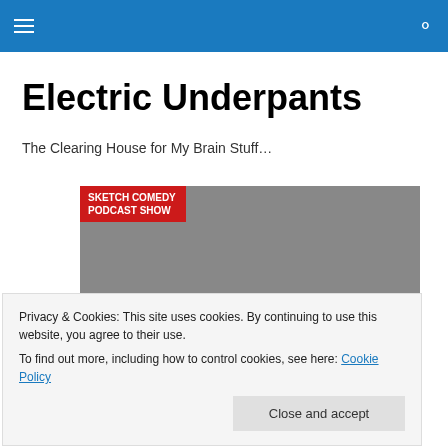Electric Underpants
Electric Underpants
The Clearing House for My Brain Stuff…
[Figure (photo): Promotional image for 'Sketch Comedy Podcast Show' featuring bold stylized text reading 'DuhVENGEERS' with red and black lettering on a grey background, with superhero-themed characters below.]
Privacy & Cookies: This site uses cookies. By continuing to use this website, you agree to their use.
To find out more, including how to control cookies, see here: Cookie Policy